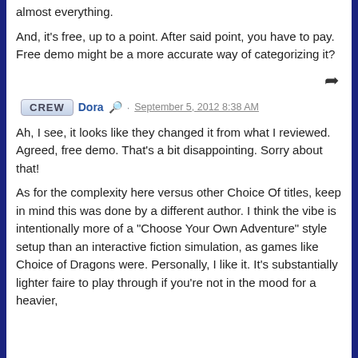almost everything.
And, it's free, up to a point. After said point, you have to pay. Free demo might be a more accurate way of categorizing it?
Dora · September 5, 2012 8:38 AM
Ah, I see, it looks like they changed it from what I reviewed. Agreed, free demo. That's a bit disappointing. Sorry about that!
As for the complexity here versus other Choice Of titles, keep in mind this was done by a different author. I think the vibe is intentionally more of a "Choose Your Own Adventure" style setup than an interactive fiction simulation, as games like Choice of Dragons were. Personally, I like it. It's substantially lighter faire to play through if you're not in the mood for a heavier,